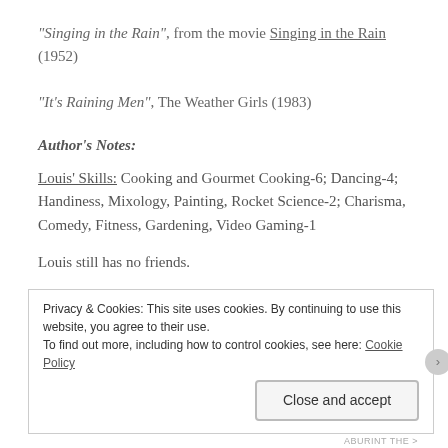“Singing in the Rain”, from the movie Singing in the Rain (1952)
“It’s Raining Men”, The Weather Girls (1983)
Author’s Notes:
Louis’ Skills: Cooking and Gourmet Cooking-6; Dancing-4; Handiness, Mixology, Painting, Rocket Science-2; Charisma, Comedy, Fitness, Gardening, Video Gaming-1
Louis still has no friends.
Privacy & Cookies: This site uses cookies. By continuing to use this website, you agree to their use.
To find out more, including how to control cookies, see here: Cookie Policy